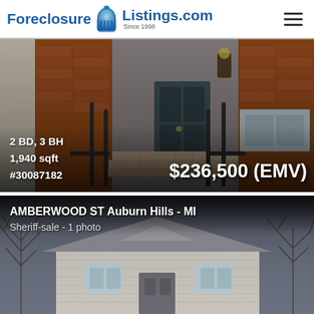ForeclosureListings.com Since 1998
[Figure (photo): Brick porch and stairs of a residential home with dark metal railings and a dark front door]
2 BD, 3 BH
1,940 sqft
#30087182
$236,500 (EMV)
[Figure (photo): Exterior of a smaller residential home with bare winter trees overhead, gray sky background]
AMBERWOOD ST Auburn Hills - MI
Sheriff-sale - 1 photo